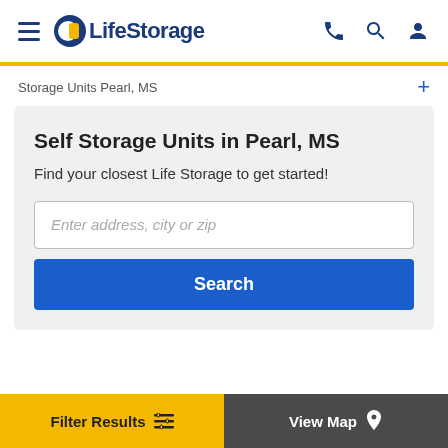[Figure (logo): LifeStorage logo with hamburger menu icon]
Storage Units Pearl, MS
Self Storage Units in Pearl, MS
Find your closest Life Storage to get started!
Enter address, city or zip
Search
Filter Results
View Map